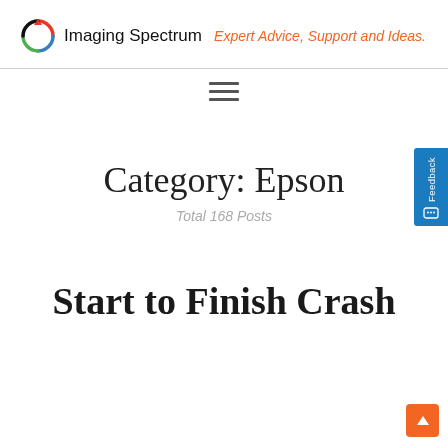Imaging Spectrum — Expert Advice, Support and Ideas.
[Figure (logo): Imaging Spectrum logo with circular arrow icon in red, green, and blue, followed by the text 'Imaging Spectrum']
Category: Epson
Total 168 Posts
Start to Finish Crash